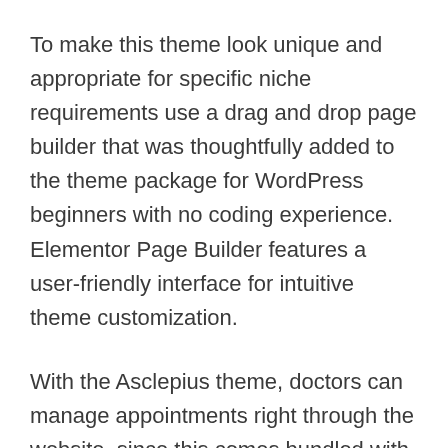To make this theme look unique and appropriate for specific niche requirements use a drag and drop page builder that was thoughtfully added to the theme package for WordPress beginners with no coding experience. Elementor Page Builder features a user-friendly interface for intuitive theme customization.
With the Asclepius theme, doctors can manage appointments right through the website, since this comes bundled with an online booking system that features a clever appointments calendar. The Asclepius theme guarantees a spotless online performance on all devices, as it is a fully responsive WordPress theme that includes Swipe effect support for all scrolled sections